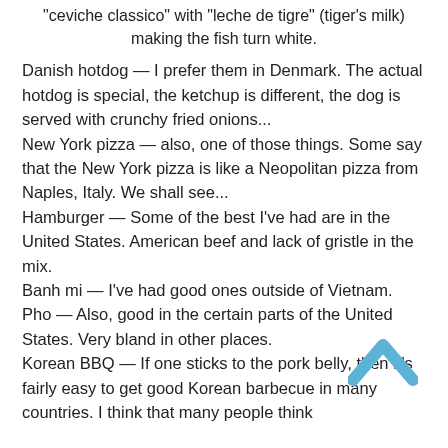"ceviche classico" with "leche de tigre" (tiger's milk) making the fish turn white.
Danish hotdog — I prefer them in Denmark. The actual hotdog is special, the ketchup is different, the dog is served with crunchy fried onions...
New York pizza — also, one of those things. Some say that the New York pizza is like a Neopolitan pizza from Naples, Italy. We shall see...
Hamburger — Some of the best I've had are in the United States. American beef and lack of gristle in the mix.
Banh mi — I've had good ones outside of Vietnam.
Pho — Also, good in the certain parts of the United States. Very bland in other places.
Korean BBQ — If one sticks to the pork belly, then it's fairly easy to get good Korean barbecue in many countries. I think that many people think